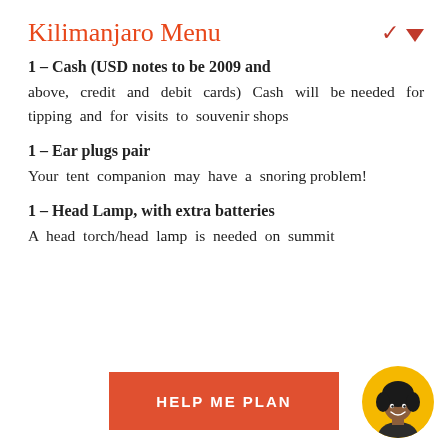Kilimanjaro Menu
1 – Cash (USD notes to be 2009 and above, credit and debit cards) Cash will be needed for tipping and for visits to souvenir shops
1 – Ear plugs pair
Your tent companion may have a snoring problem!
1 – Head Lamp, with extra batteries
A head torch/head lamp is needed on summit